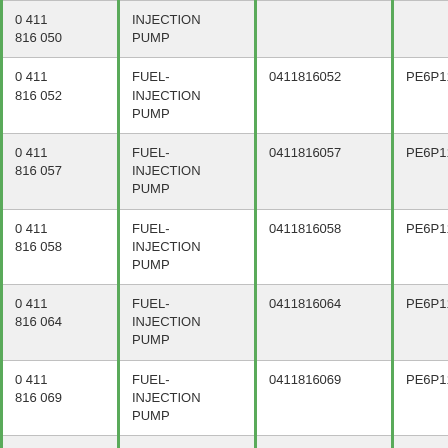| 0 411
816 050 | INJECTION PUMP |  |  |
| 0 411
816 052 | FUEL-INJECTION PUMP | 0411816052 | PE6P110A320RS141 |
| 0 411
816 057 | FUEL-INJECTION PUMP | 0411816057 | PE6P110A320RS175 |
| 0 411
816 058 | FUEL-INJECTION PUMP | 0411816058 | PE6P110A720RS176 |
| 0 411
816 064 | FUEL-INJECTION PUMP | 0411816064 | PE6P110A721RS195 |
| 0 411
816 069 | FUEL-INJECTION PUMP | 0411816069 | PE6P110A320RS229 |
| 0 411 | FUEL- | 0411816075 | PE6P110A320RS1387 |